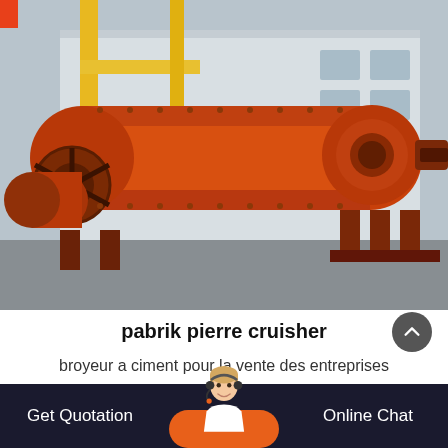[Figure (photo): Large orange industrial ball mill / grinding machine on a factory floor outdoors, with yellow crane structure visible in background and industrial building]
pabrik pierre cruisher
broyeur a ciment pour la vente des entreprises publiques. Chili 120150 Station de concassage…
Get Quotation   [agent chat button]   Online Chat